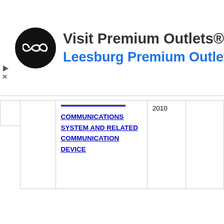[Figure (other): Advertisement banner: circular black logo with infinity symbol, text 'Visit Premium Outlets®' in dark gray, 'Leesburg Premium Outlets' in blue, and a blue diamond navigation icon on the right]
|  | COMMUNICATIONS SYSTEM AND RELATED COMMUNICATION DEVICE | 2010 |  |